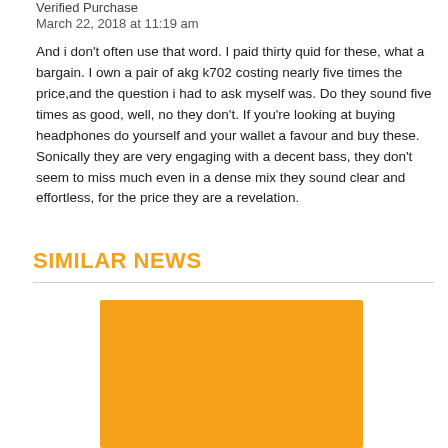Verified Purchase
March 22, 2018 at 11:19 am
And i don't often use that word. I paid thirty quid for these, what a bargain. I own a pair of akg k702 costing nearly five times the price,and the question i had to ask myself was. Do they sound five times as good, well, no they don't. If you're looking at buying headphones do yourself and your wallet a favour and buy these. Sonically they are very engaging with a decent bass, they don't seem to miss much even in a dense mix they sound clear and effortless, for the price they are a revelation.
SIMILAR NEWS
[Figure (other): Orange/yellow rectangular image placeholder for a similar news article thumbnail]